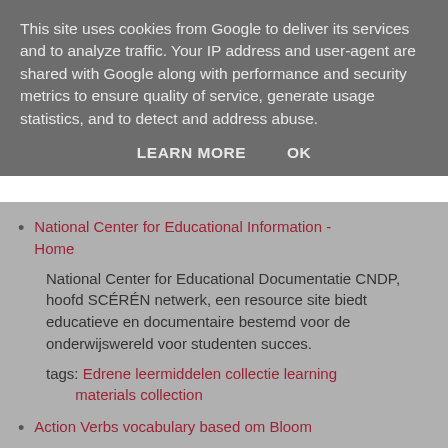This site uses cookies from Google to deliver its services and to analyze traffic. Your IP address and user-agent are shared with Google along with performance and security metrics to ensure quality of service, generate usage statistics, and to detect and address abuse.
LEARN MORE   OK
National Center for Educational Information - Home
National Center for Educational Documentatie CNDP, hoofd SCÉRÉN netwerk, een resource site biedt educatieve en documentaire bestemd voor de onderwijswereld voor studenten succes.
tags: Edrene leermiddelen collectie learning materials collection
Action Verbs vocabulary based om Bloom